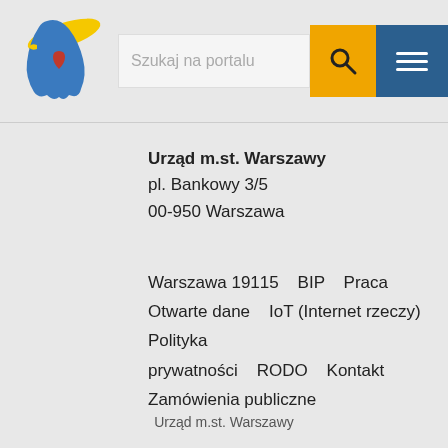[Figure (logo): Urząd m.st. Warszawy logo - colorful bird/figure with red heart and text]
Szukaj na portalu
Urząd m.st. Warszawy
pl. Bankowy 3/5
00-950 Warszawa
Warszawa 19115    BIP    Praca
Otwarte dane    IoT (Internet rzeczy)
Polityka prywatności    RODO    Kontakt
Zamówienia publiczne
Urząd m.st. Warszawy